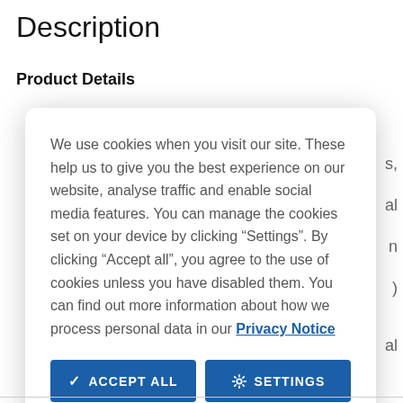Description
Product Details
We use cookies when you visit our site. These help us to give you the best experience on our website, analyse traffic and enable social media features. You can manage the cookies set on your device by clicking “Settings”. By clicking “Accept all”, you agree to the use of cookies unless you have disabled them. You can find out more information about how we process personal data in our Privacy Notice
ACCEPT ALL
SETTINGS